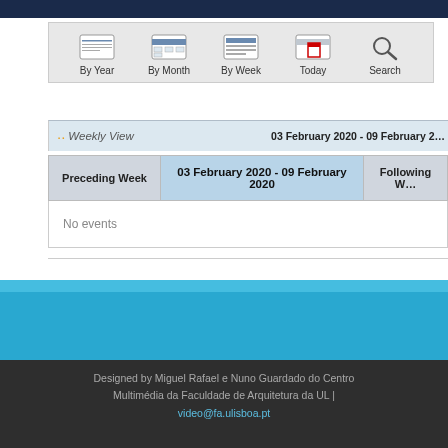[Figure (screenshot): Calendar navigation toolbar with icons for By Year, By Month, By Week, Today, and Search]
.. Weekly View    03 February 2020 - 09 February 2020
| Preceding Week | 03 February 2020 - 09 February 2020 | Following W... |
| --- | --- | --- |
| No events |  |  |
Designed by Miguel Rafael e Nuno Guardado do Centro Multimédia da Faculdade de Arquitetura da UL | video@fa.ulisboa.pt